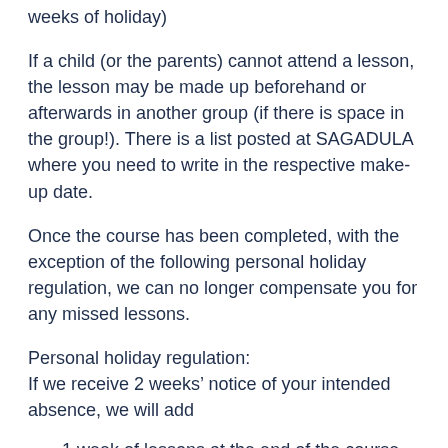weeks of holiday)
If a child (or the parents) cannot attend a lesson, the lesson may be made up beforehand or afterwards in another group (if there is space in the group!). There is a list posted at SAGADULA where you need to write in the respective make-up date.
Once the course has been completed, with the exception of the following personal holiday regulation, we can no longer compensate you for any missed lessons.
Personal holiday regulation:
If we receive 2 weeks’ notice of your intended absence, we will add
1 week of lessons at the end of the course >if you miss 2 weeks due to holidays
2 weeks of lessons at the end of the course> if you